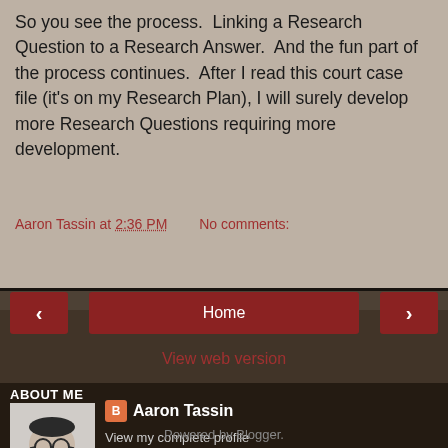So you see the process.  Linking a Research Question to a Research Answer.  And the fun part of the process continues.  After I read this court case file (it's on my Research Plan), I will surely develop more Research Questions requiring more development.
Aaron Tassin at 2:36 PM    No comments:
Share
< Home > View web version
ABOUT ME
[Figure (photo): Black and white headshot photo of Aaron Tassin, a man with glasses and a beard.]
Aaron Tassin
View my complete profile
Powered by Blogger.